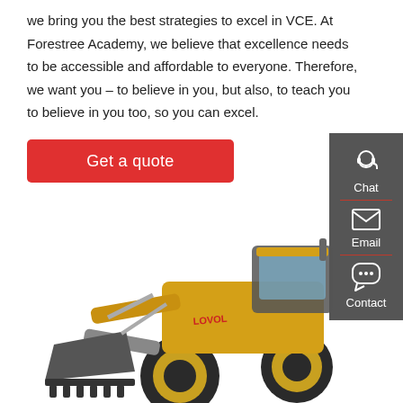we bring you the best strategies to excel in VCE. At Forestree Academy, we believe that excellence needs to be accessible and affordable to everyone. Therefore, we want you – to believe in you, but also, to teach you to believe in you too, so you can excel.
Get a quote
[Figure (illustration): Yellow front-end wheel loader (LOVOL brand) construction machine on white background]
[Figure (infographic): Dark grey sidebar with Chat (headset icon), Email (envelope icon), and Contact (speech bubble icon) options separated by red dividers]